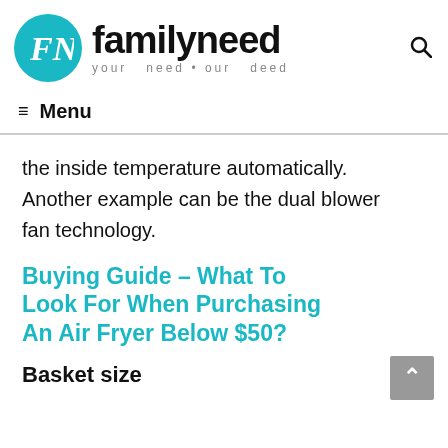familyneed — your need • our deed
≡ Menu
the inside temperature automatically. Another example can be the dual blower fan technology.
Buying Guide – What To Look For When Purchasing An Air Fryer Below $50?
Basket size